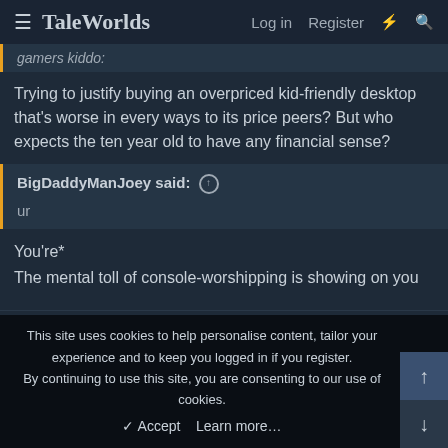TaleWorlds — Log in  Register
gamers kiddo:
Trying to justify buying an overpriced kid-friendly desktop that's worse in every ways to its price peers? But who expects the ten year old to have any financial sense?
BigDaddyManJoey said: ↑
ur
You're*
The mental toll of console-worshipping is showing on you
dannazgu
Sergeant at Arms
This site uses cookies to help personalise content, tailor your experience and to keep you logged in if you register.
By continuing to use this site, you are consenting to our use of cookies.
✓ Accept   Learn more…